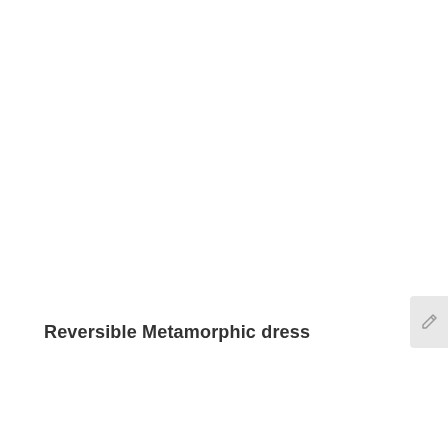Reversible Metamorphic dress
[Figure (other): Small icon/button with a pencil/edit symbol on a light grey rounded rectangle, positioned at the right edge of the page]